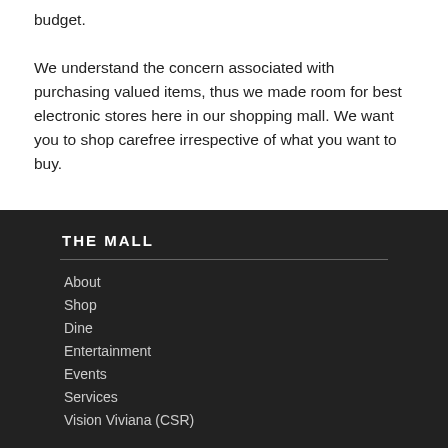budget. We understand the concern associated with purchasing valued items, thus we made room for best electronic stores here in our shopping mall. We want you to shop carefree irrespective of what you want to buy.
THE MALL
About
Shop
Dine
Entertainment
Events
Services
Vision Viviana (CSR)